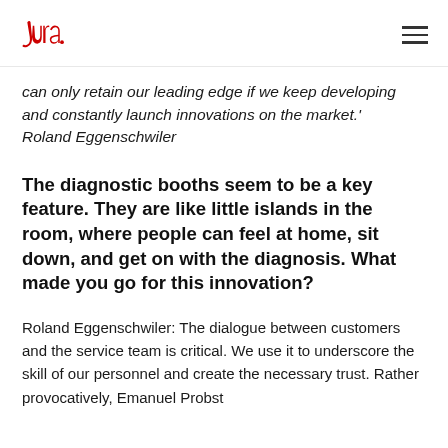jura (logo)
can only retain our leading edge if we keep developing and constantly launch innovations on the market.' Roland Eggenschwiler
The diagnostic booths seem to be a key feature. They are like little islands in the room, where people can feel at home, sit down, and get on with the diagnosis. What made you go for this innovation?
Roland Eggenschwiler: The dialogue between customers and the service team is critical. We use it to underscore the skill of our personnel and create the necessary trust. Rather provocatively, Emanuel Probst